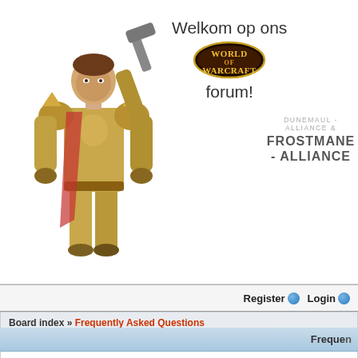[Figure (illustration): World of Warcraft forum header with a WoW character (paladin in golden armor) on the left, 'Welkom op ons [WoW logo] forum!' text in the center, and 'DUNEMAUL - ALLIANCE & FROSTMANE - ALLIANCE' server text on the right]
Register   Login
Board index » Frequently Asked Questions
View active topics
Frequently
Login and Registration Issues
Why can't I login?
Why do I need to register at all?
Why do I get logged off automatically?
How do I prevent my username appearing in the online user listings?
I've lost my password!
I registered but cannot login!
I registered in the past but cannot login any more?!
What is COPPA?
Why can't I register?
What does the "Delete all board cookies" do?